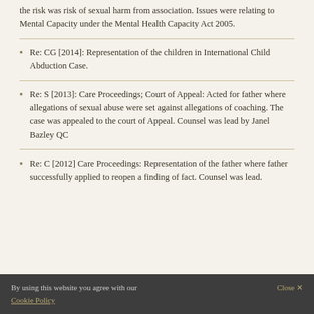the risk was risk of sexual harm from association. Issues were relating to Mental Capacity under the Mental Health Capacity Act 2005.
Re: CG [2014]: Representation of the children in International Child Abduction Case.
Re: S [2013]: Care Proceedings; Court of Appeal: Acted for father where allegations of sexual abuse were set against allegations of coaching. The case was appealed to the court of Appeal. Counsel was lead by Janel Bazley QC
Re: C [2012] Care Proceedings: Representation of the father where father successfully applied to reopen a finding of fact. Counsel was lead.
By using this website you agree with our Cookie Policy  Close X